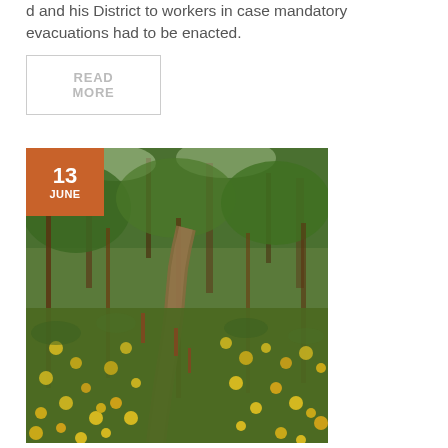d and his District to workers in case mandatory evacuations had to be enacted.
READ MORE
[Figure (photo): A forest trail surrounded by yellow wildflowers and green trees. A date badge in the upper left corner shows '13 JUNE' in white text on an orange/rust-colored background.]